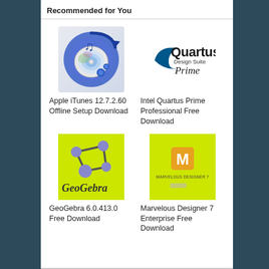Recommended for You
[Figure (logo): Apple iTunes icon — CD with musical notes on blue circular arrow background]
[Figure (logo): Intel Quartus Prime Design Suite logo]
Apple iTunes 12.7.2.60 Offline Setup Download
Intel Quartus Prime Professional Free Download
[Figure (screenshot): GeoGebra logo on yellow-green background — graph nodes connected with lines and GeoGebra text]
[Figure (screenshot): Marvelous Designer 7 logo on yellow-green background — M icon with MARVELOUS DESIGNER 7 text]
GeoGebra 6.0.413.0 Free Download
Marvelous Designer 7 Enterprise Free Download